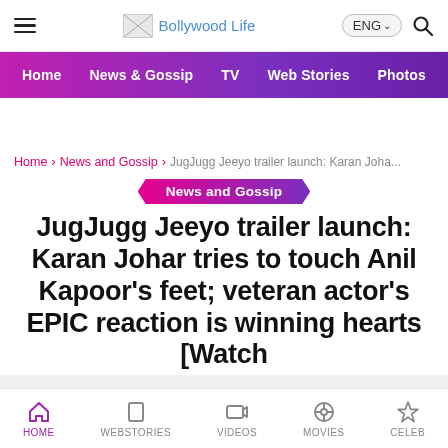Bollywood Life – ENG
Home | News & Gossip | TV | Web Stories | Photos | Video
Home > News and Gossip > JugJugg Jeeyo trailer launch: Karan Joha...
News and Gossip
JugJugg Jeeyo trailer launch: Karan Johar tries to touch Anil Kapoor's feet; veteran actor's EPIC reaction is winning hearts [Watch
HOME | WEBSTORIES | VIDEOS | MOVIES | CELEB